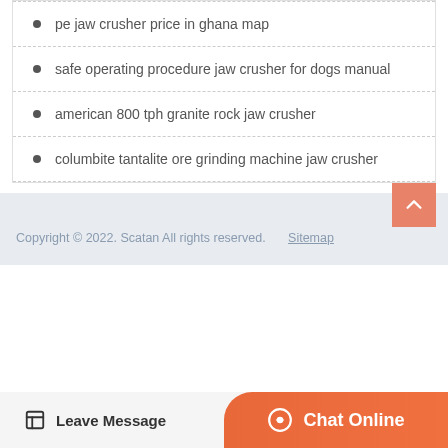pe jaw crusher price in ghana map
safe operating procedure jaw crusher for dogs manual
american 800 tph granite rock jaw crusher
columbite tantalite ore grinding machine jaw crusher
Copyright © 2022. Scatan All rights reserved. Sitemap
Leave Message
Chat Online